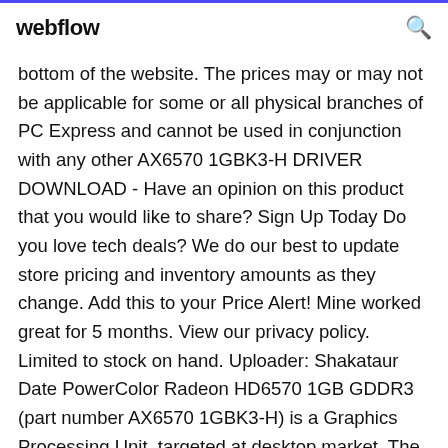webflow
bottom of the website. The prices may or may not be applicable for some or all physical branches of PC Express and cannot be used in conjunction with any other AX6570 1GBK3-H DRIVER DOWNLOAD - Have an opinion on this product that you would like to share? Sign Up Today Do you love tech deals? We do our best to update store pricing and inventory amounts as they change. Add this to your Price Alert! Mine worked great for 5 months. View our privacy policy. Limited to stock on hand. Uploader: Shakataur Date PowerColor Radeon HD6570 1GB GDDR3 (part number AX6570 1GBK3-H) is a Graphics Processing Unit, targeted at desktop market. The GPU is based